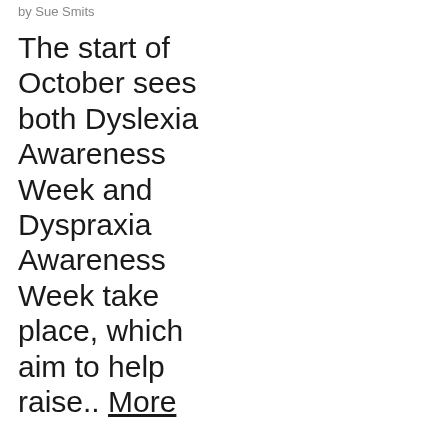by Sue Smits
The start of October sees both Dyslexia Awareness Week and Dyspraxia Awareness Week take place, which aim to help raise.. More